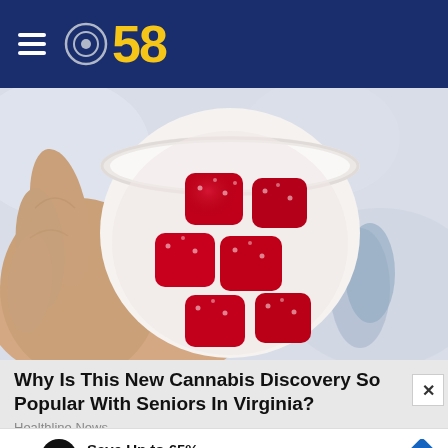CBS58
[Figure (photo): A hand holding a small white cup containing several red sugary gummy candy cubes, viewed from above, against a light background.]
Why Is This New Cannabis Discovery So Popular With Seniors In Virginia?
Healthline News